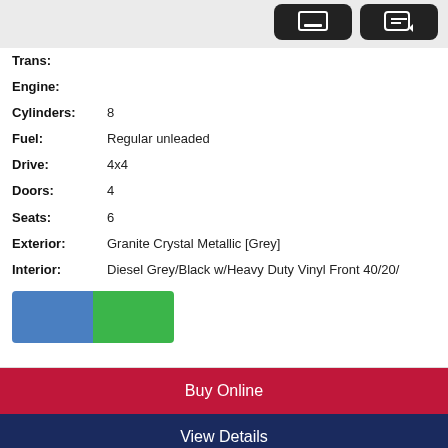[Figure (screenshot): Top UI section showing dark icon buttons on grey background (tablet/chat icons)]
Trans:
Engine:
Cylinders: 8
Fuel: Regular unleaded
Drive: 4x4
Doors: 4
Seats: 6
Exterior: Granite Crystal Metallic [Grey]
Interior: Diesel Grey/Black w/Heavy Duty Vinyl Front 40/20/
[Figure (illustration): Two color swatches side by side: blue on left, green on right]
Buy Online
View Details
[Figure (logo): Gemini Motors Subaru dealer logo with phone 519-894-2050, address 26 Manitou Dr, Kitchener, Ontario N2C 1L1, www.geminimotors.com, and dealer building photo with Subaru logos]